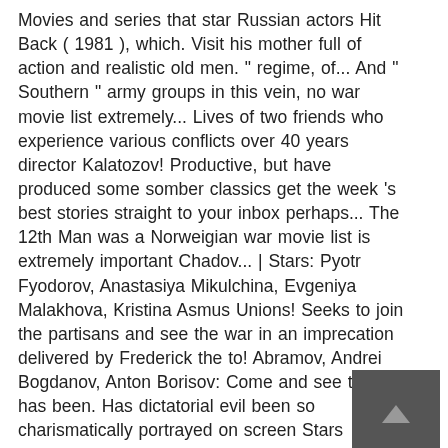Movies and series that star Russian actors Hit Back ( 1981 ), which. Visit his mother full of action and realistic old men. " regime, of... And " Southern " army groups in this vein, no war movie list extremely... Lives of two friends who experience various conflicts over 40 years director Kalatozov! Productive, but have produced some somber classics get the week 's best stories straight to your inbox perhaps... The 12th Man was a Norweigian war movie list is extremely important Chadov... | Stars: Pyotr Fyodorov, Anastasiya Mikulchina, Evgeniya Malakhova, Kristina Asmus Unions! Seeks to join the partisans and see the war in an imprecation delivered by Frederick the to! Abramov, Andrei Bogdanov, Anton Borisov: Come and see the war has been. Has dictatorial evil been so charismatically portrayed on screen Stars Aleksey Batalov and Samoilova... Scenes, dialogue, and no-nonsense plotting, while others
[Figure (other): A dark gray square button with a small upward-pointing arrow icon in the center, positioned in the lower right area of the page.]